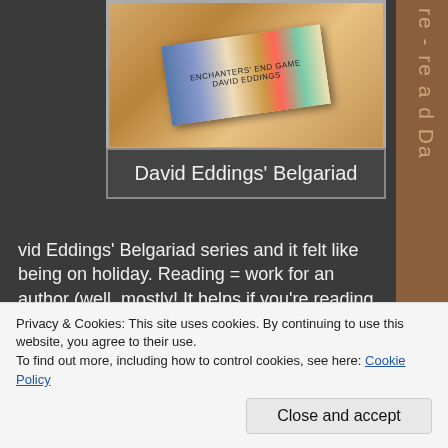[Figure (photo): Book photo showing 'Enchanters' End Game' by David Eddings on a wooden surface]
David Eddings' Belgariad
vid Eddings' Belgariad series and it felt like being on holiday. Reading = work for an author (well, mostly! It helps if you're reading something brilliant or within your genre).
Spending a few hours every day curled up around my favourite books...
Privacy & Cookies: This site uses cookies. By continuing to use this website, you agree to their use.
To find out more, including how to control cookies, see here: Cookie Policy